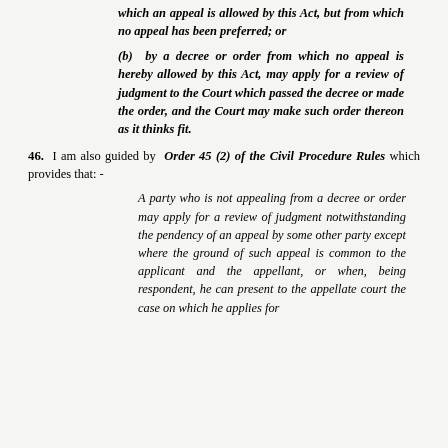which an appeal is allowed by this Act, but from which no appeal has been preferred; or
(b)  by a decree or order from which no appeal is hereby allowed by this Act, may apply for a review of judgment to the Court which passed the decree or made the order, and the Court may make such order thereon as it thinks fit.
46.  I am also guided by  Order 45 (2) of the Civil Procedure Rules which provides that: -
A party who is not appealing from a decree or order may apply for a review of judgment notwithstanding the pendency of an appeal by some other party except where the ground of such appeal is common to the applicant and the appellant, or when, being respondent, he can present to the appellate court the case on which he applies for